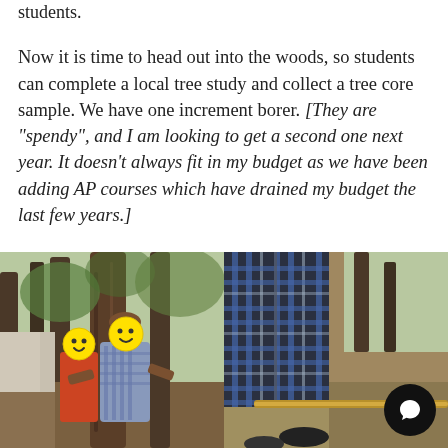students.
Now it is time to head out into the woods, so students can complete a local tree study and collect a tree core sample. We have one increment borer. [They are "spendy", and I am looking to get a second one next year. It doesn't always fit in my budget as we have been adding AP courses which have drained my budget the last few years.]
[Figure (photo): Two side-by-side outdoor photos. Left: students standing near a tree in a forest, faces covered with yellow smiley emoji stickers. Right: close-up of a person in a plaid shirt holding an increment borer tool near a tree, with a message/chat button icon in the lower right corner.]